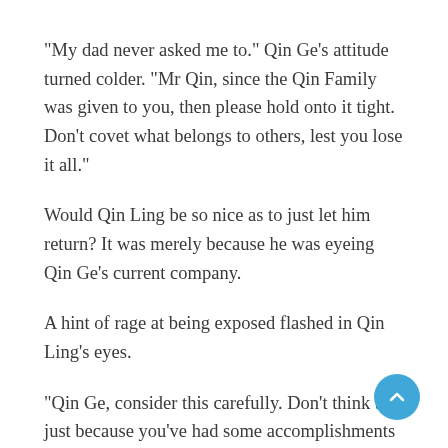“My dad never asked me to.” Qin Ge’s attitude turned colder. “Mr Qin, since the Qin Family was given to you, then please hold onto it tight. Don’t covet what belongs to others, lest you lose it all.”
Would Qin Ling be so nice as to just let him return? It was merely because he was eyeing Qin Ge’s current company.
A hint of rage at being exposed flashed in Qin Ling’s eyes.
“Qin Ge, consider this carefully. Don’t think that just because you’ve had some accomplishments that you’ll be able to make it big! There are plenty of people more accomplished than you!” Qin Ling’s tone wasn’t as pleasant as before. “And mind your status—you can do better than to marry someone so unseemly.”
“Mr Qin.” Now that he was dragging her into it, Shi Sheng shot Qin Ling a frosty smile. “You still dare to flounce